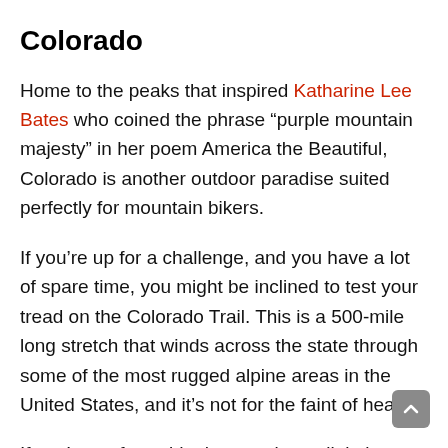Colorado
Home to the peaks that inspired Katharine Lee Bates who coined the phrase “purple mountain majesty” in her poem America the Beautiful, Colorado is another outdoor paradise suited perfectly for mountain bikers.
If you’re up for a challenge, and you have a lot of spare time, you might be inclined to test your tread on the Colorado Trail. This is a 500-mile long stretch that winds across the state through some of the most rugged alpine areas in the United States, and it’s not for the faint of heart.
If you’re up for a ride that requires a little less endurance, you might consider the Silverton to